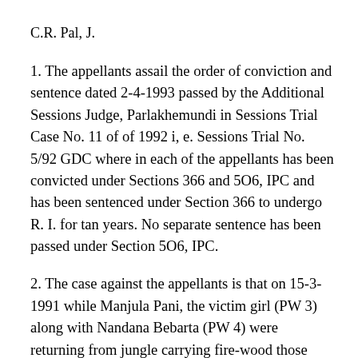C.R. Pal, J.
1. The appellants assail the order of conviction and sentence dated 2-4-1993 passed by the Additional Sessions Judge, Parlakhemundi in Sessions Trial Case No. 11 of of 1992 i, e. Sessions Trial No. 5/92 GDC where in each of the appellants has been convicted under Sections 366 and 5O6, IPC and has been sentenced under Section 366 to undergo R. I. for tan years. No separate sentence has been passed under Section 5O6, IPC.
2. The case against the appellants is that on 15-3-1991 while Manjula Pani, the victim girl (PW 3) along with Nandana Bebarta (PW 4) were returning from jungle carrying fire-wood those appellants